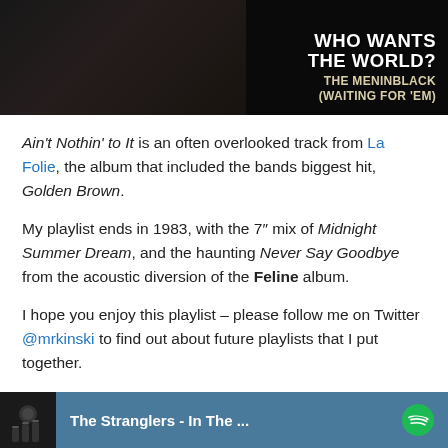[Figure (photo): Dark album cover with white bold text reading 'WHO WANTS THE WORLD? THE MENINBLACK (WAITING FOR 'EM)']
Ain't Nothin' to It is an often overlooked track from La Folie, the album that included the bands biggest hit, Golden Brown.
My playlist ends in 1983, with the 7" mix of Midnight Summer Dream, and the haunting Never Say Goodbye from the acoustic diversion of the Feline album.
I hope you enjoy this playlist – please follow me on Twitter @mrkinski to find out about future playlists that I put together.
[Figure (screenshot): Spotify player bar showing 'The Stranglers - In The ...' with album thumbnail and Spotify logo]